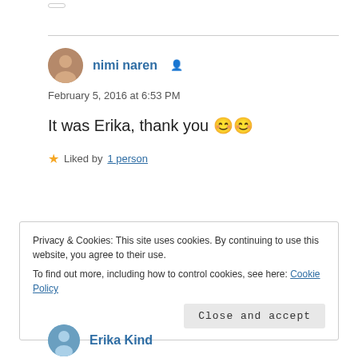nimi naren
February 5, 2016 at 6:53 PM
It was Erika, thank you 😊😊
Liked by 1 person
Privacy & Cookies: This site uses cookies. By continuing to use this website, you agree to their use. To find out more, including how to control cookies, see here: Cookie Policy
Close and accept
Erika Kind